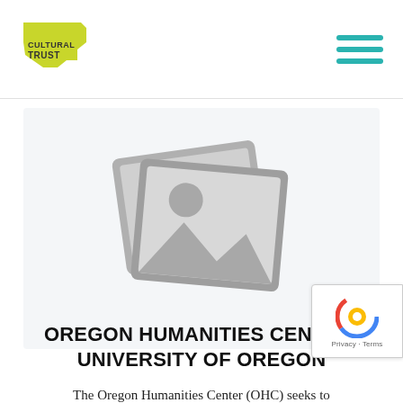Cultural Trust logo and navigation menu
[Figure (illustration): Placeholder image icon showing stacked photo frames with mountain/landscape silhouette and sun, rendered in gray]
OREGON HUMANITIES CENTER- UNIVERSITY OF OREGON
The Oregon Humanities Center (OHC) seeks to